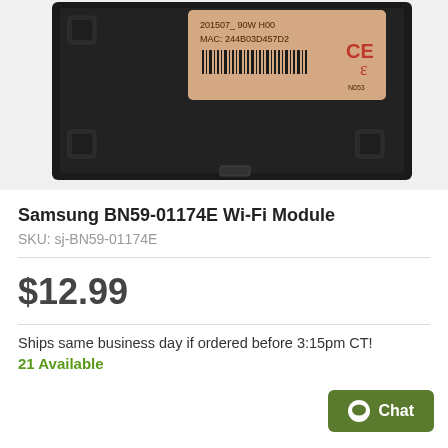[Figure (photo): Samsung BN59-01174E Wi-Fi Module product photo showing the back of a black electronic module with a beige/tan label showing model number, MAC address 244B03D457D2, barcode, and certification marks (CE)]
Samsung BN59-01174E Wi-Fi Module
SKU: sj-BN59-01174E
$12.99
Ships same business day if ordered before 3:15pm CT!
21 Available